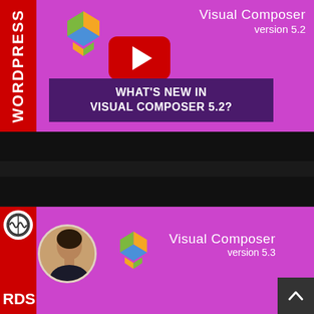[Figure (screenshot): YouTube thumbnail for 'What's New in Visual Composer 5.2?' with purple background, WordPress red sidebar with 'WORDPRESS' text, Visual Composer logo (colorful cubes), YouTube play button, and dark purple banner with white uppercase text]
[Figure (screenshot): YouTube thumbnail for Visual Composer version 5.3 with purple background, WordPress red sidebar with WP logo, circular photo of a woman, and Visual Composer logo with colorful cubes]